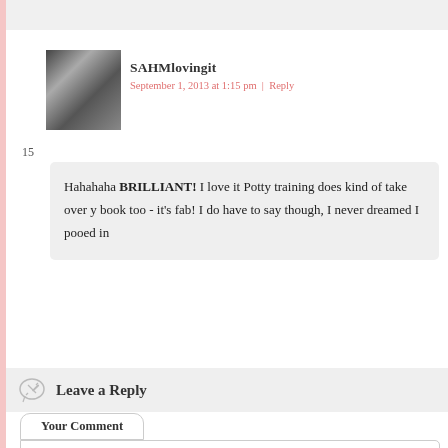SAHMlovingit
September 1, 2013 at 1:15 pm | Reply
15
Hahahaha BRILLIANT! I love it Potty training does kind of take over y book too - it's fab! I do have to say though, I never dreamed I pooed in
Leave a Reply
Your Comment